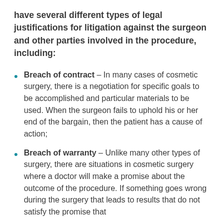have several different types of legal justifications for litigation against the surgeon and other parties involved in the procedure, including:
Breach of contract – In many cases of cosmetic surgery, there is a negotiation for specific goals to be accomplished and particular materials to be used. When the surgeon fails to uphold his or her end of the bargain, then the patient has a cause of action;
Breach of warranty – Unlike many other types of surgery, there are situations in cosmetic surgery where a doctor will make a promise about the outcome of the procedure. If something goes wrong during the surgery that leads to results that do not satisfy the promise that...